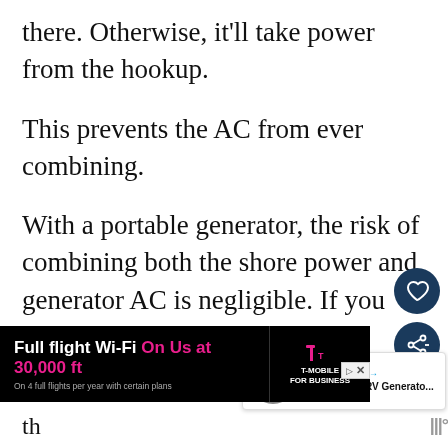there. Otherwise, it'll take power from the hookup.
This prevents the AC from ever combining.
With a portable generator, the risk of combining both the shore power and generator AC is negligible. If you have shore power, you probably won't take out the generator. And even if you do, you probably only have one hookup box on th…